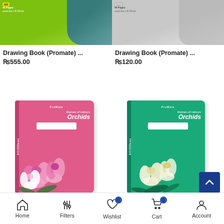[Figure (photo): Drawing Book (Promate) with green cover, A5 size, 40 pages]
Drawing Book (Promate) ...
₨555.00
[Figure (photo): Drawing Book (Promate) with gray cover, A5 size, 40 pages]
Drawing Book (Promate) ...
₨120.00
[Figure (photo): Pink Orchids themed Promate notebook, A4/200 pages]
[Figure (photo): Green Orchids themed Promate notebook, A4/200 pages]
Home  Filters  Wishlist 0  Cart 0  Account